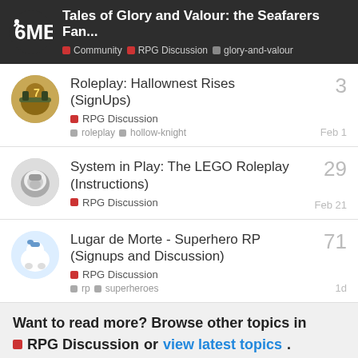Tales of Glory and Valour: the Seafarers Fan... | Community | RPG Discussion | glory-and-valour
Roleplay: Hallownest Rises (SignUps) | RPG Discussion | roleplay | hollow-knight | 3 replies | Feb 1
System in Play: The LEGO Roleplay (Instructions) | RPG Discussion | 29 replies | Feb 21
Lugar de Morte - Superhero RP (Signups and Discussion) | RPG Discussion | rp | superheroes | 71 replies | 1d
Want to read more? Browse other topics in RPG Discussion or view latest topics.